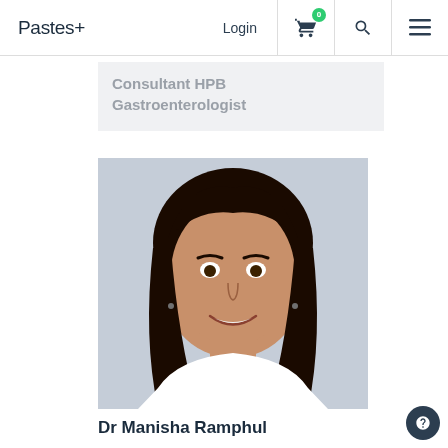Pastes+ Login [cart:0] [search] [menu]
Consultant HPB Gastroenterologist
[Figure (photo): Headshot photo of Dr Manisha Ramphul, a woman smiling at the camera with dark hair, against a light background.]
Dr Manisha Ramphul